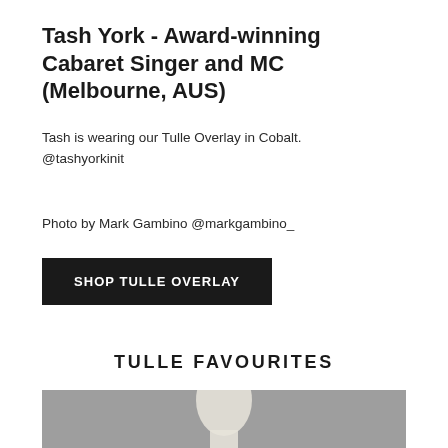Tash York - Award-winning Cabaret Singer and MC (Melbourne, AUS)
Tash is wearing our Tulle Overlay in Cobalt. @tashyorkinit
Photo by Mark Gambino @markgambino_
SHOP TULLE OVERLAY
TULLE FAVOURITES
[Figure (photo): A wooden mannequin head/torso form on a grey background]